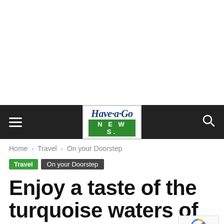[Figure (other): White advertisement/blank space at top of page]
Have-a-Go NEWS navigation bar with logo, hamburger menu, and search icon
Home › Travel › On your Doorstep
Travel  On your Doorstep
Enjoy a taste of the turquoise waters of Geographe Bay